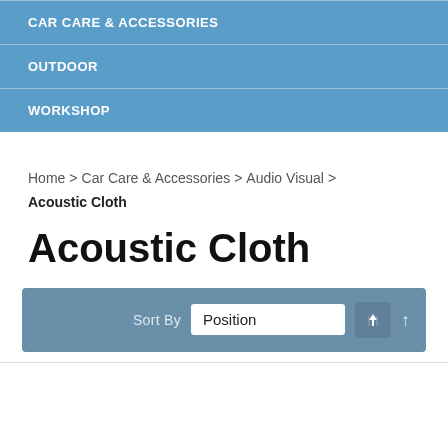CAR CARE & ACCESSORIES
OUTDOOR
WORKSHOP
Home > Car Care & Accessories > Audio Visual > Acoustic Cloth
Acoustic Cloth
Sort By Position